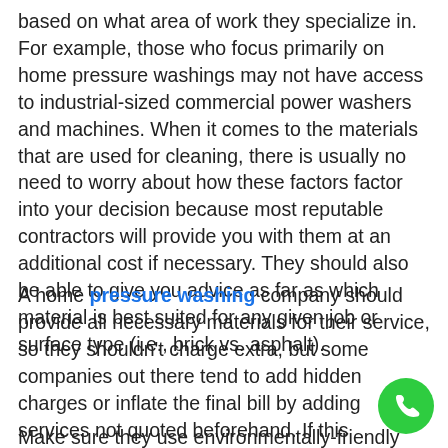based on what area of work they specialize in. For example, those who focus primarily on home pressure washings may not have access to industrial-sized commercial power washers and machines. When it comes to the materials that are used for cleaning, there is usually no need to worry about how these factors factor into your decision because most reputable contractors will provide you with them at an additional cost if necessary. They should also be able to give you advice as far as which material is best suited for any given job or surface type (i.e., brick vs. asphalt).
A home pressure washing company should provide all necessary materials for their service, so they shouldn't charge extra, but some companies out there tend to add hidden charges or inflate the final bill by adding services not quoted beforehand. If this happens, it's important to clarify before making payment, as disputes with contractors get messy when money is involved!
Make sure they use environmentally-friendly products so